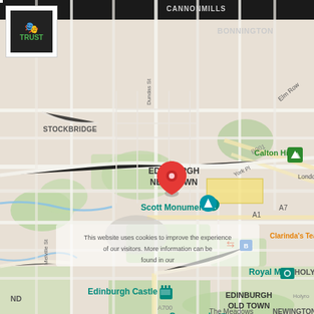[Figure (map): Google Maps screenshot showing Edinburgh city centre including Edinburgh New Town, Edinburgh Old Town, Edinburgh Castle, Scott Monument, Calton Hill, Royal Mile, Grassmarket, The University of Edinburgh, Fountainbridge, Stockbridge, Bonnington, Canonmills, Holyrood, Southside, Newington, and Haymarket areas. A red location pin is placed near the Scott Monument in Edinburgh New Town.]